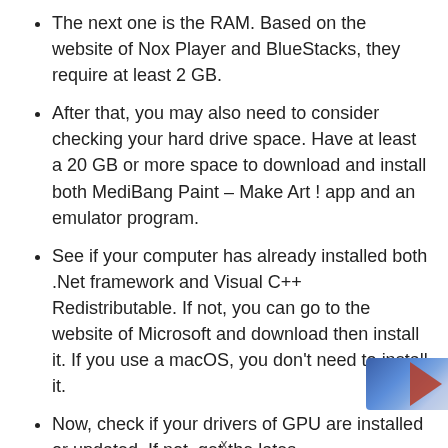The next one is the RAM. Based on the website of Nox Player and BlueStacks, they require at least 2 GB.
After that, you may also need to consider checking your hard drive space. Have at least a 20 GB or more space to download and install both MediBang Paint – Make Art ! app and an emulator program.
See if your computer has already installed both .Net framework and Visual C++ Redistributable. If not, you can go to the website of Microsoft and download then install it. If you use a macOS, you don't need to install it.
Now, check if your drivers of GPU are installed or updated. If not, get the lates…
x